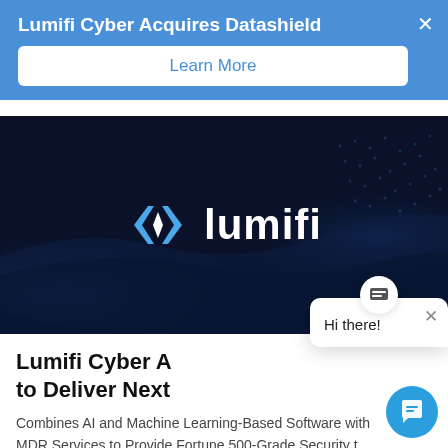Lumifi Cyber Acquires Datashield
Learn More
[Figure (screenshot): Lumifi company logo on a dark navy blue background with digital wave pattern]
Lumifi Cyber A… to Deliver Next…
Combines AI and Machine Learning-Based Software with MDR Services to Provide Fortune 500-Grade Security t…
Hi there!